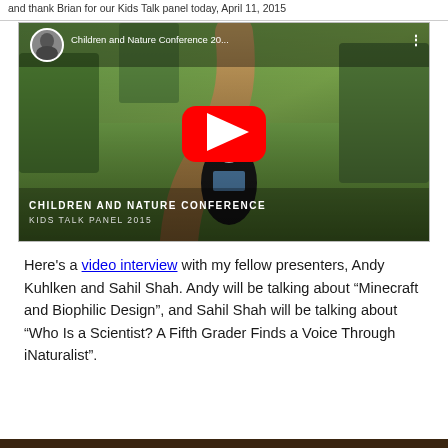and thank Brian for our Kids Talk panel today, April 11, 2015
[Figure (screenshot): YouTube video thumbnail for 'Children and Nature Conference 20...' showing a person standing in a garden/park setting with a winding path. Red YouTube play button in center. Text overlay at bottom: 'CHILDREN AND NATURE CONFERENCE / KIDS TALK PANEL 2015'. Small circular avatar in top-left corner.]
Here's a video interview with my fellow presenters, Andy Kuhlken and Sahil Shah. Andy will be talking about “Minecraft and Biophilic Design”, and Sahil Shah will be talking about “Who Is a Scientist? A Fifth Grader Finds a Voice Through iNaturalist”.